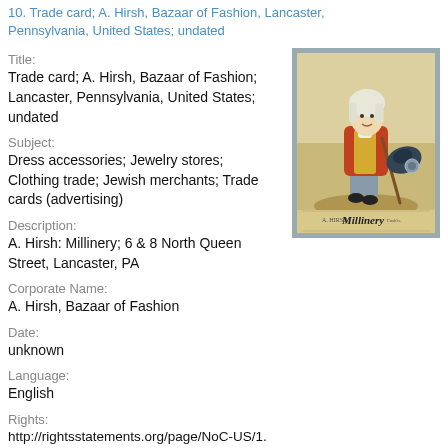10. Trade card; A. Hirsh, Bazaar of Fashion, Lancaster, Pennsylvania, United States; undated
Title:
Trade card; A. Hirsh, Bazaar of Fashion; Lancaster, Pennsylvania, United States; undated
[Figure (illustration): Vintage trade card illustration showing a small figure in 18th century clothing — red jacket, knee breeches — holding a cane, with a hat. Bottom reads 'A. HIRSH Millinery']
Subject:
Dress accessories; Jewelry stores; Clothing trade; Jewish merchants; Trade cards (advertising)
Description:
A. Hirsh: Millinery; 6 & 8 North Queen Street, Lancaster, PA
Corporate Name:
A. Hirsh, Bazaar of Fashion
Date:
unknown
Language:
English
Rights:
http://rightsstatements.org/page/NoC-US/1.0/?